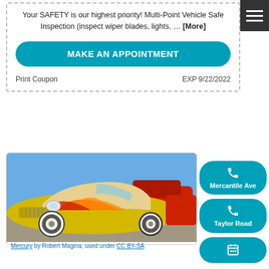Your SAFETY is our highest priority! Multi-Point Vehicle Safety Inspection (inspect wiper blades, lights, ... [More]
MAKE AN APPOINTMENT
Print Coupon
EXP 9/22/2022
[Figure (photo): A custom hot rod Mercury car with gold/yellow and red flame paint job at a car show, photographed at low angle.]
Mercury by Robert Magina, used under CC BY-SA
Mercantile Ave
Taylor Road